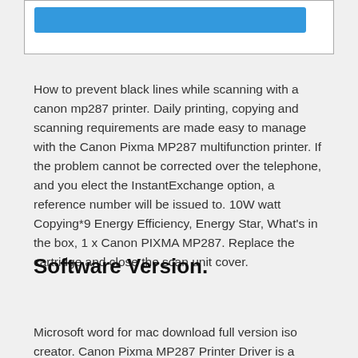[Figure (screenshot): A white box with a blue button/bar inside, partially visible at the top of the page]
How to prevent black lines while scanning with a canon mp287 printer. Daily printing, copying and scanning requirements are made easy to manage with the Canon Pixma MP287 multifunction printer. If the problem cannot be corrected over the telephone, and you elect the InstantExchange option, a reference number will be issued to. 10W watt Copying*9 Energy Efficiency, Energy Star, What's in the box, 1 x Canon PIXMA MP287. Replace the cartridge and close the scan unit cover.
Software Version.
Microsoft word for mac download full version iso creator. Canon Pixma MP287 Printer Driver is a